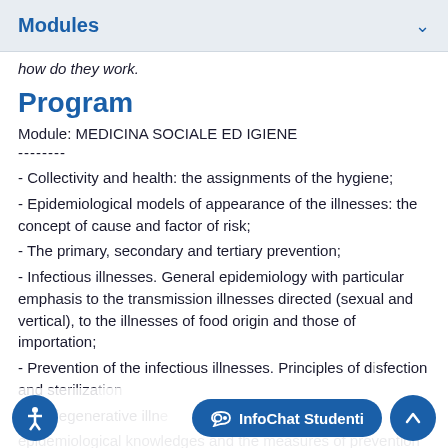Modules
how do they work.
Program
Module: MEDICINA SOCIALE ED IGIENE
--------
- Collectivity and health: the assignments of the hygiene;
- Epidemiological models of appearance of the illnesses: the concept of cause and factor of risk;
- The primary, secondary and tertiary prevention;
- Infectious illnesses. General epidemiology with particular emphasis to the transmission illnesses directed (sexual and vertical), to the illnesses of food origin and those of importation;
- Prevention of the infectious illnesses. Principles of disinfection and sterilization
chronic-degenerative illn...
epidemiological knowledges and the measures of prevention